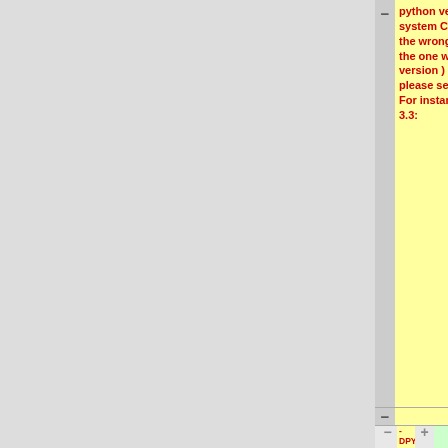python versions in your system CMake detects the wrong one ( typically, the one with the highest version ) to avoid that, please set it manually. For instance, for Python 3.3:
- DPYTHON_INCLUDE_PATH="C:\Python33\include"
- DPYTHON_LIBRARY="C:\Python33\libs\python33.lib"
==== Enable/Disable Setting ====